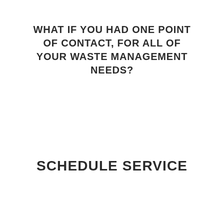WHAT IF YOU HAD ONE POINT OF CONTACT, FOR ALL OF YOUR WASTE MANAGEMENT NEEDS?
SCHEDULE SERVICE